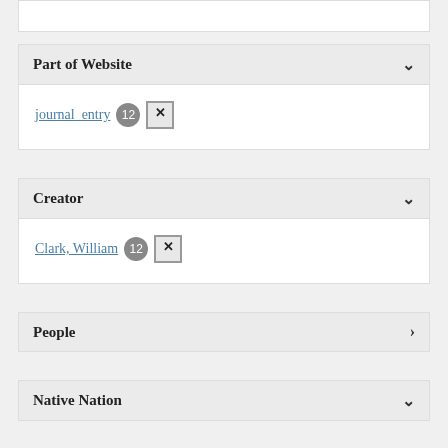Part of Website
journal_entry 12 ×
Creator
Clark, William 12 ×
People
Native Nation